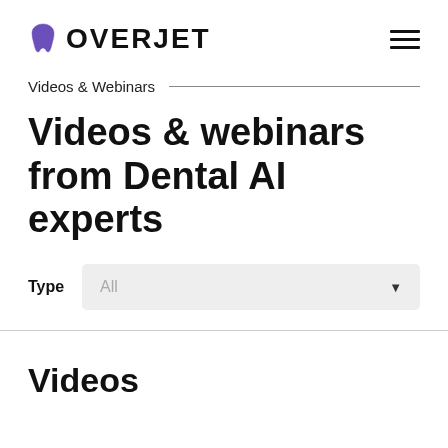OVERJET
Videos & Webinars
Videos & webinars from Dental AI experts
Type   All
Videos